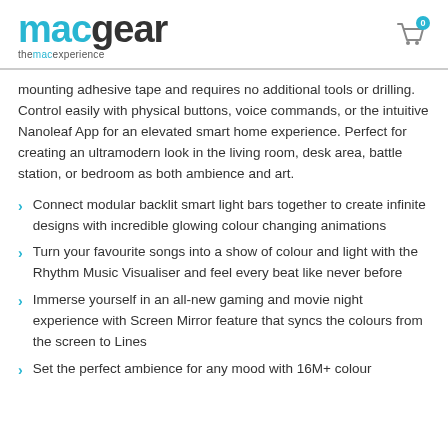macgear — themacexperience
mounting adhesive tape and requires no additional tools or drilling. Control easily with physical buttons, voice commands, or the intuitive Nanoleaf App for an elevated smart home experience. Perfect for creating an ultramodern look in the living room, desk area, battle station, or bedroom as both ambience and art.
Connect modular backlit smart light bars together to create infinite designs with incredible glowing colour changing animations
Turn your favourite songs into a show of colour and light with the Rhythm Music Visualiser and feel every beat like never before
Immerse yourself in an all-new gaming and movie night experience with Screen Mirror feature that syncs the colours from the screen to Lines
Set the perfect ambience for any mood with 16M+ colour